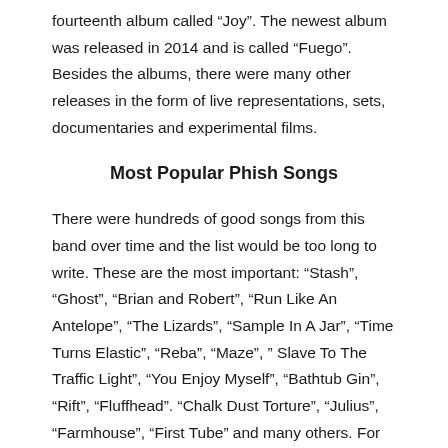fourteenth album called “Joy”. The newest album was released in 2014 and is called “Fuego”. Besides the albums, there were many other releases in the form of live representations, sets, documentaries and experimental films.
Most Popular Phish Songs
There were hundreds of good songs from this band over time and the list would be too long to write. These are the most important: “Stash”, “Ghost”, “Brian and Robert”, “Run Like An Antelope”, “The Lizards”, “Sample In A Jar”, “Time Turns Elastic”, “Reba”, “Maze”, “ Slave To The Traffic Light”, “You Enjoy Myself”, “Bathtub Gin”, “Rift”, “Fluffhead”. “Chalk Dust Torture”, “Julius”, “Farmhouse”, “First Tube” and many others. For example, “Time Turns Elastic” exists on the album “Joy” and was meant to be an orchestral piece originally. “Fluffhead” was made for the first album, “Junta” and is one of the favorite of most fans. “First Tube”